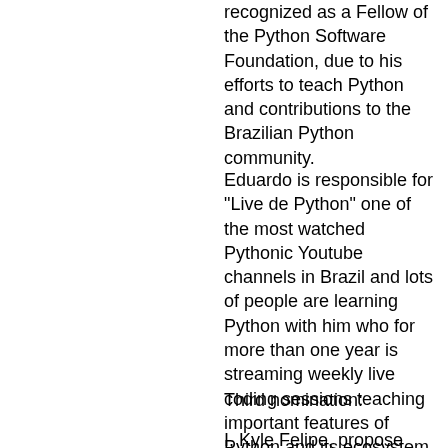recognized as a Fellow of the Python Software Foundation, due to his efforts to teach Python and contributions to the Brazilian Python community.
Eduardo is responsible for "Live de Python" one of the most watched Pythonic Youtube channels in Brazil and lots of people are learning Python with him who for more than one year is streaming weekly live coding sessions teaching important features of Python and its ecosystem.
Third nomination:
I, Kyle Felipe, propose